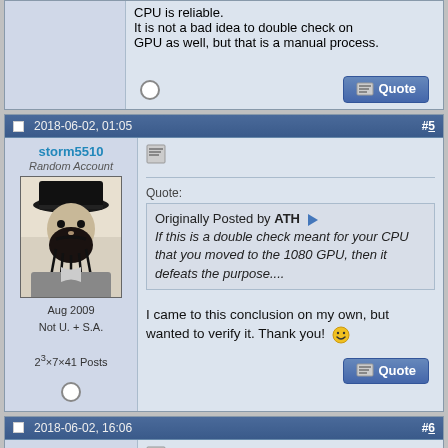CPU is reliable.
It is not a bad idea to double check on GPU as well, but that is a manual process.
2018-06-02, 01:05  #5
storm5510
Random Account
Aug 2009
Not U. + S.A.
2^3×7×41 Posts
[Figure (photo): Avatar image of a pirate figure (blackbeard style woodcut illustration)]
Quote:
Originally Posted by ATH
If this is a double check meant for your CPU that you moved to the 1080 GPU, then it defeats the purpose....
I came to this conclusion on my own, but wanted to verify it. Thank you! 🙂
2018-06-02, 16:06  #6
kriesel
Quote: